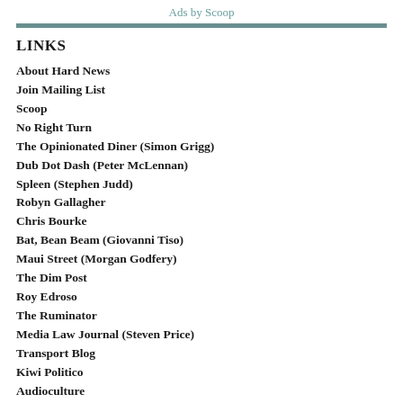Ads by Scoop
LINKS
About Hard News
Join Mailing List
Scoop
No Right Turn
The Opinionated Diner (Simon Grigg)
Dub Dot Dash (Peter McLennan)
Spleen (Stephen Judd)
Robyn Gallagher
Chris Bourke
Bat, Bean Beam (Giovanni Tiso)
Maui Street (Morgan Godfery)
The Dim Post
Roy Edroso
The Ruminator
Media Law Journal (Steven Price)
Transport Blog
Kiwi Politico
Audioculture
ON TWITTER